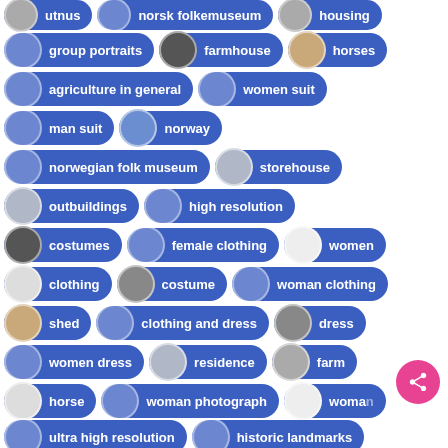[Figure (screenshot): Tag cloud / keyword chip list from a museum image search app. Shows rows of pill-shaped chips with thumbnail images and text labels: utnus, norsk folkemuseum, housing, group portraits, farmhouse, horses, agriculture in general, women suit, man suit, norway, norwegian folk museum, storehouse, outbuildings, high resolution, costumes, female clothing, women, clothing, costume, woman clothing, shed, clothing and dress, dress, women dress, residence, farm, horse, woman photograph, woman, ultra high resolution, historic landmarks. A pink share button is in the bottom right.]